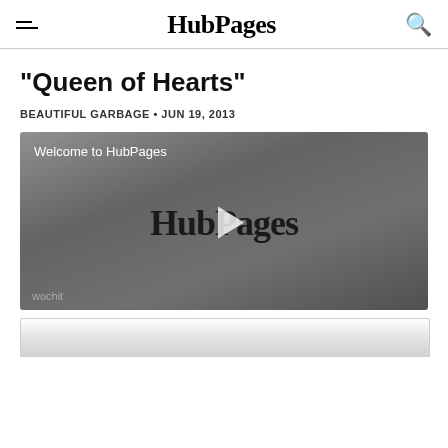HubPages
"Queen of Hearts"
BEAUTIFUL GARBAGE • JUN 19, 2013
[Figure (screenshot): Video player showing 'Welcome to HubPages' with HubPages logo and play button, wochit watermark at bottom left]